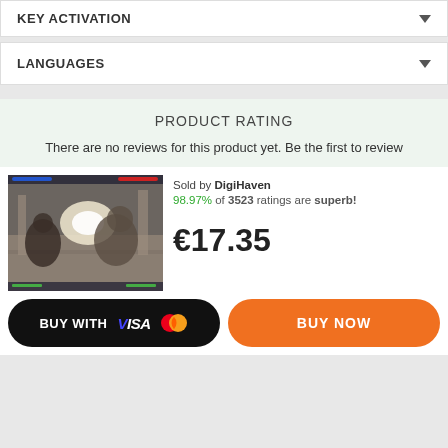KEY ACTIVATION
LANGUAGES
PRODUCT RATING
There are no reviews for this product yet. Be the first to review
[Figure (screenshot): Screenshot of a video game showing combat scene with characters fighting]
Sold by DigiHaven
98.97% of 3523 ratings are superb!
€17.35
BUY WITH VISA (Mastercard logo)
BUY NOW